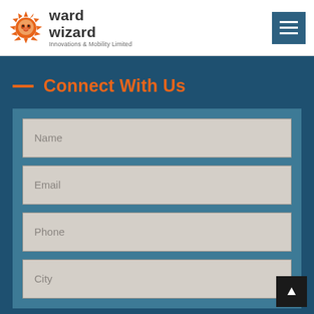[Figure (logo): Ward Wizard Innovations & Mobility Limited logo with lion head icon in orange and company name in dark text]
Connect With Us
Name
Email
Phone
City